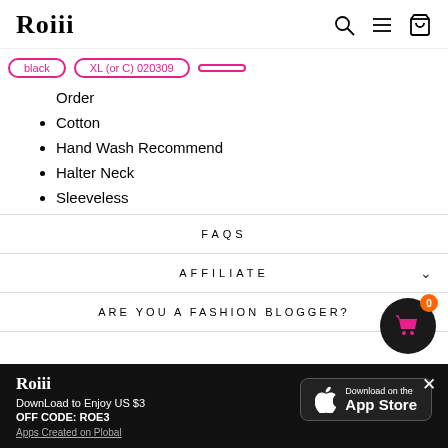Roiii
Order
Cotton
Hand Wash Recommend
Halter Neck
Sleeveless
FAQS
AFFILIATE
ARE YOU A FASHION BLOGGER?
Roiii
DownLoad to Enjoy US $3
OFF CODE: ROE3
Apps Created on Plobal